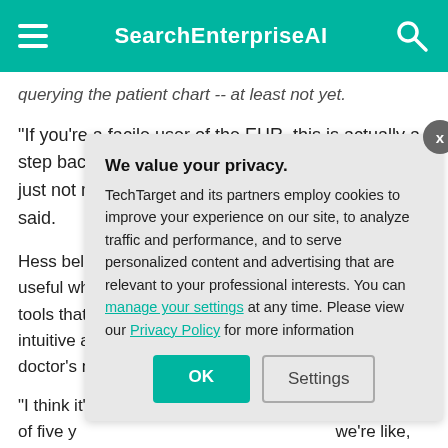SearchEnterpriseAI
querying the patient chart -- at least not yet.
"If you're a facile user of the EHR, this is actually a step backward right now, to use voice, because it's just not made for the templates of the EHR," he said.
Hess believes EHR voice assistants will be most useful when they can go beyond just transcription to tools that capture context from conversations and take intuitive actions, like automatically updating the doctor's notes.
"I think it's a two- to five-year journey, and at the end of five years, I think voice is going to be -- we're like, 'Hey, we saved a whole hour a week for doctors and nurses,'"
EHR voice a...
We value your privacy. TechTarget and its partners employ cookies to improve your experience on our site, to analyze traffic and performance, and to serve personalized content and advertising that are relevant to your professional interests. You can manage your settings at any time. Please view our Privacy Policy for more information